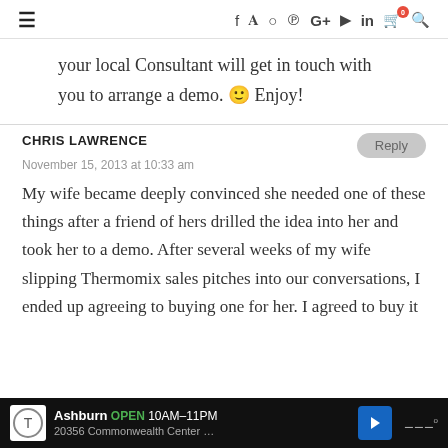≡ f y ⊙ ℗ G+ ▶ in 🛒 0 🔍
your local Consultant will get in touch with you to arrange a demo. 🙂 Enjoy!
CHRIS LAWRENCE
November 15, 2013 at 10:33 am
My wife became deeply convinced she needed one of these things after a friend of hers drilled the idea into her and took her to a demo. After several weeks of my wife slipping Thermomix sales pitches into our conversations, I ended up agreeing to buying one for her. I agreed to buy it
Ashburn OPEN 10AM–11PM 20356 Commonwealth Center …